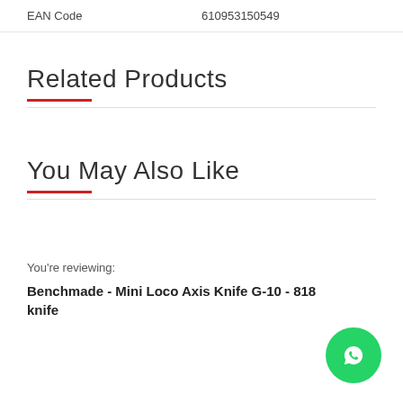| EAN Code | 610953150549 |
Related Products
You May Also Like
You’re reviewing:
Benchmade - Mini Loco Axis Knife G-10 - 818 knife